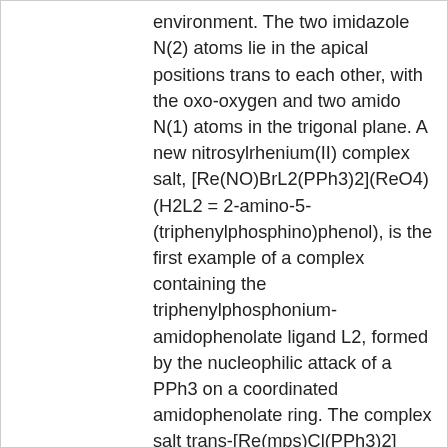environment. The two imidazole N(2) atoms lie in the apical positions trans to each other, with the oxo-oxygen and two amido N(1) atoms in the trigonal plane. A new nitrosylrhenium(II) complex salt, [Re(NO)BrL2(PPh3)2](ReO4) (H2L2 = 2-amino-5-(triphenylphosphino)phenol), is the first example of a complex containing the triphenylphosphonium-amidophenolate ligand L2, formed by the nucleophilic attack of a PPh3 on a coordinated amidophenolate ring. The complex salt trans-[Re(mps)Cl(PPh3)2](ReO4) (H3mps = N-(2-amino-3-methylphenyl)salicylideneimine) was prepared by the reaction of trans-[ReOCl3(PPh3)2] with a twofold molar excess of H3mps. The X-ray crystal structure shows that the trianionic ligand mps acts as a tridentate chelate via the doubly deprotonated amino nitrogen (an imide), the neutral imino nitrogen and the deprotonated phenolic oxygen. The six-coordinated complex cis-[Re(mps)Cl2(PPh3)2] was prepared by the reaction of trans-[ReOCl3(PPh3)2] with a twofold molar excess of H3mps in benzene. The X-ray crystal structure